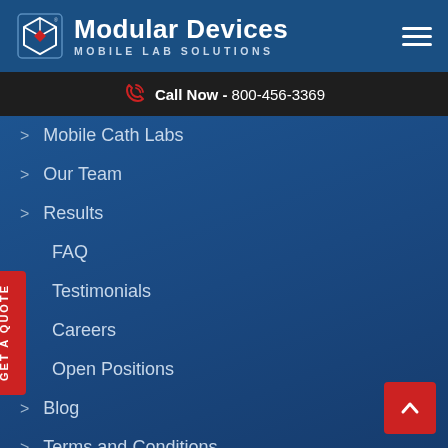Modular Devices - MOBILE LAB SOLUTIONS
Call Now - 800-456-3369
> Mobile Cath Labs
> Our Team
> Results
FAQ
Testimonials
Careers
Open Positions
> Blog
> Terms and Conditions
> Privacy Policy